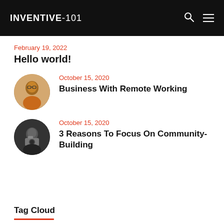INVENTIVE-101
February 19, 2022
Hello world!
October 15, 2020
Business With Remote Working
[Figure (photo): Circular thumbnail photo of a smiling man with glasses wearing an orange shirt]
October 15, 2020
3 Reasons To Focus On Community-Building
[Figure (photo): Circular thumbnail photo of a person holding a camera in a dark setting]
Tag Cloud